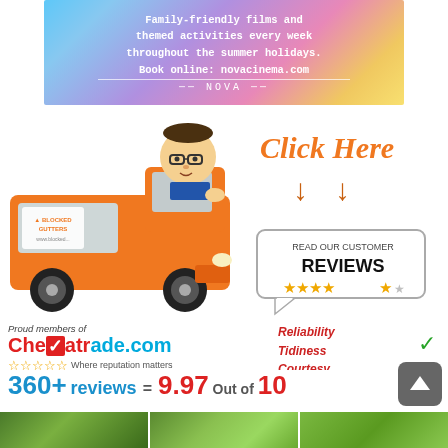[Figure (illustration): Nova Cinema advertisement banner with gradient background showing text about family-friendly films and themed activities every week throughout the summer holidays. Book online: novacinema.com — NOVA]
[Figure (illustration): Blocked Gutters advertisement showing an orange van with a cartoon man in glasses, with 'Click Here' text in orange handwritten style and two downward arrows]
[Figure (illustration): Speech bubble box reading 'READ OUR CUSTOMER REVIEWS' with 5 gold stars]
[Figure (logo): Checkatrade.com logo with text: Proud members of Checkatrade.com, star rating row, Where reputation matters. Right side: Reliability, Tidiness, Courtesy, Workmanship with green checkmark. Below: 360+ reviews = 9.97 Out of 10]
[Figure (photo): Strip of three outdoor/garden photos at the bottom of the page]